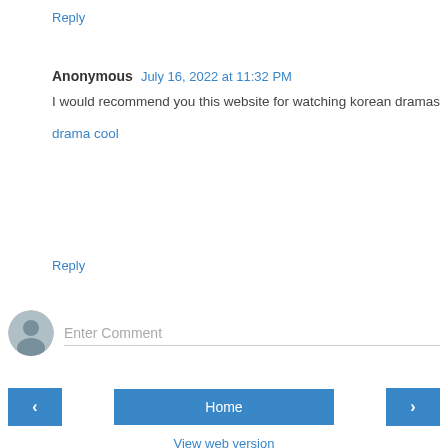Reply
Anonymous  July 16, 2022 at 11:32 PM
I would recommend you this website for watching korean dramas
drama cool
Reply
Enter Comment
Home
View web version